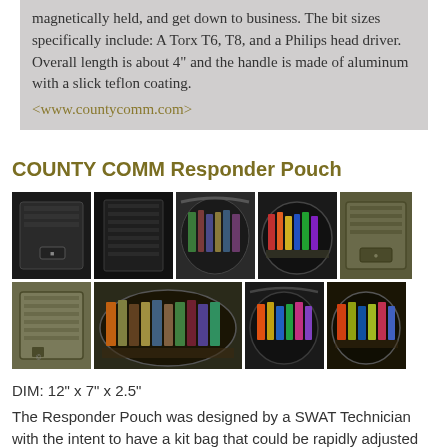magnetically held, and get down to business. The bit sizes specifically include: A Torx T6, T8, and a Philips head driver. Overall length is about 4" and the handle is made of aluminum with a slick teflon coating. <www.countycomm.com>
COUNTY COMM Responder Pouch
[Figure (photo): Grid of 9 product photos showing County Comm Responder Pouch in black and olive drab colors, open and closed, with various gear inside]
DIM: 12" x 7" x 2.5"
The Responder Pouch was designed by a SWAT Technician with the intent to have a kit bag that could be rapidly adjusted per mission. For starters, a unique feature of the pouch is that it is padded on front, back, and bottom making it good for electronics and more.